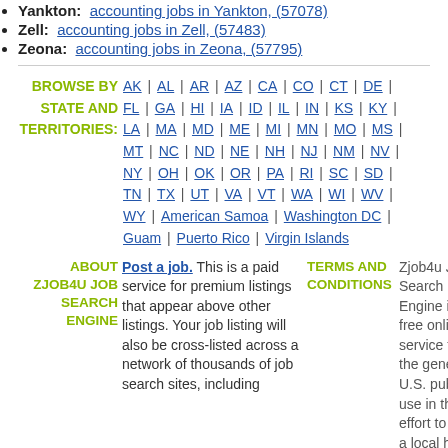Yankton: accounting jobs in Yankton, (57078)
Zell: accounting jobs in Zell, (57483)
Zeona: accounting jobs in Zeona, (57795)
BROWSE BY STATE AND TERRITORIES: AK | AL | AR | AZ | CA | CO | CT | DE | FL | GA | HI | IA | ID | IL | IN | KS | KY | LA | MA | MD | ME | MI | MN | MO | MS | MT | NC | ND | NE | NH | NJ | NM | NV | NY | OH | OK | OR | PA | RI | SC | SD | TN | TX | UT | VA | VT | WA | WI | WV | WY | American Samoa | Washington DC | Guam | Puerto Rico | Virgin Islands
ABOUT ZJOB4U JOB SEARCH ENGINE
Post a job. This is a paid service for premium listings that appear above other listings. Your job listing will also be cross-listed across a network of thousands of job search sites, including
TERMS AND CONDITIONS
Zjob4u Job Search Engine is a free online service for the general U.S. public to use in their effort to find a local hiring opportunities, both part time and full time. We do not represent, endorse, or, in any way affiliated with those employers.